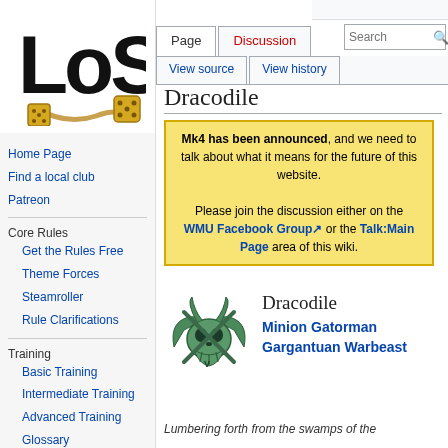[Figure (logo): LoS wiki logo with stylized text and dice]
Home Page
Find a local club
Patreon
Core Rules
Get the Rules Free
Theme Forces
Steamroller
Rule Clarifications
Training
Basic Training
Intermediate Training
Advanced Training
Glossary
Create account  Log in
Dracodile
Mk4 has been announced, and we need to talk about what it means for the future of this website. Please join the discussion either on the WMU Facebook Group or the Talk:Main Page area of this wiki.
[Figure (illustration): Dracodile creature badge/icon - green skull with crossed weapons]
Dracodile
Minion Gatorman Gargantuan Warbeast
Lumbering forth from the swamps of the